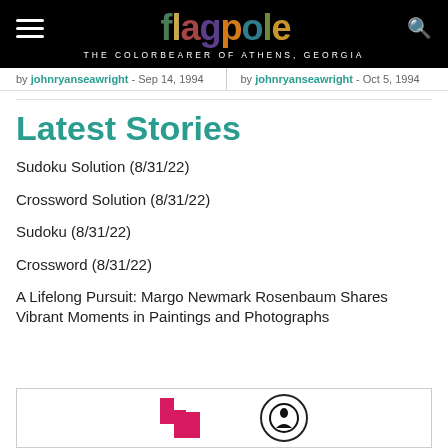flagpole — THE COLORBEARER OF ATHENS, GEORGIA
by johnryanseawright - Sep 14, 1994   by johnryanseawright - Oct 5, 1994
Latest Stories
Sudoku Solution (8/31/22)
Crossword Solution (8/31/22)
Sudoku (8/31/22)
Crossword (8/31/22)
A Lifelong Pursuit: Margo Newmark Rosenbaum Shares Vibrant Moments in Paintings and Photographs
[Figure (logo): Advertisement banner with two logos at the bottom of the page]